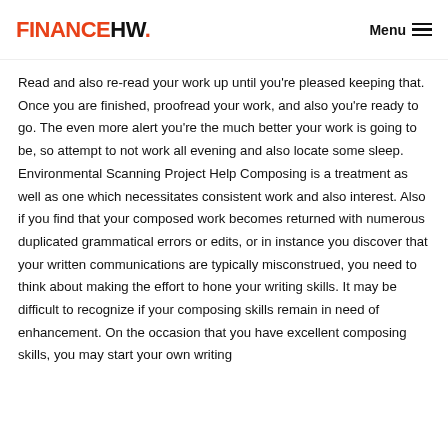FINANCEHW.   Menu
Read and also re-read your work up until you're pleased keeping that. Once you are finished, proofread your work, and also you're ready to go. The even more alert you're the much better your work is going to be, so attempt to not work all evening and also locate some sleep. Environmental Scanning Project Help Composing is a treatment as well as one which necessitates consistent work and also interest. Also if you find that your composed work becomes returned with numerous duplicated grammatical errors or edits, or in instance you discover that your written communications are typically misconstrued, you need to think about making the effort to hone your writing skills. It may be difficult to recognize if your composing skills remain in need of enhancement. On the occasion that you have excellent composing skills, you may start your own writing